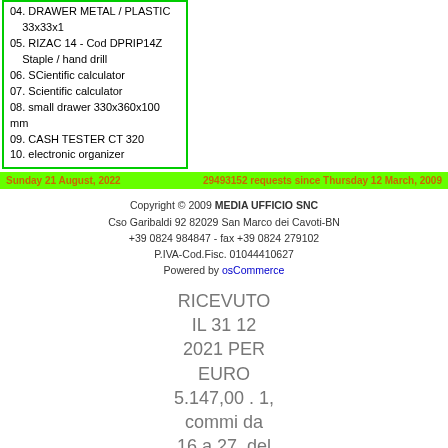04. DRAWER METAL / PLASTIC 33x33x1
05. RIZAC 14 - Cod DPRIP14Z Staple / hand drill
06. SCientific calculator
07. Scientific calculator
08. small drawer 330x360x100 mm
09. CASH TESTER CT 320
10. electronic organizer
Sunday 21 August, 2022    29493152 requests since Thursday 12 March, 2009
Copyright © 2009 MEDIA UFFICIO SNC
Cso Garibaldi 92 82029 San Marco dei Cavoti-BN
+39 0824 984847 - fax +39 0824 279102
P.IVA-Cod.Fisc. 01044410627
Powered by osCommerce
RICEVUTO IL 31 12 2021 PER EURO 5.147,00 . 1, commi da 16 a 27, del decreto-legge 25 maggio 2021, n. 73